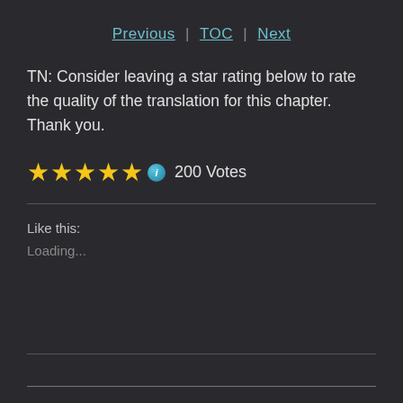Previous | TOC | Next
TN: Consider leaving a star rating below to rate the quality of the translation for this chapter. Thank you.
★★★★★ ⓘ 200 Votes
Like this:
Loading...